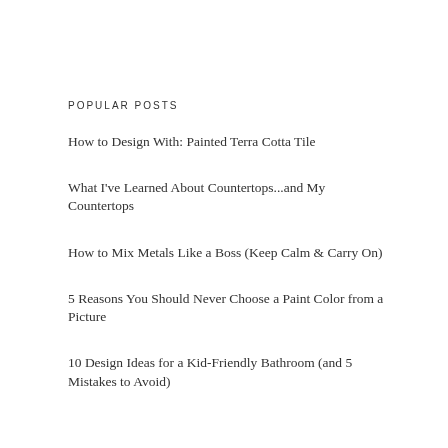POPULAR POSTS
How to Design With: Painted Terra Cotta Tile
What I've Learned About Countertops...and My Countertops
How to Mix Metals Like a Boss (Keep Calm & Carry On)
5 Reasons You Should Never Choose a Paint Color from a Picture
10 Design Ideas for a Kid-Friendly Bathroom (and 5 Mistakes to Avoid)